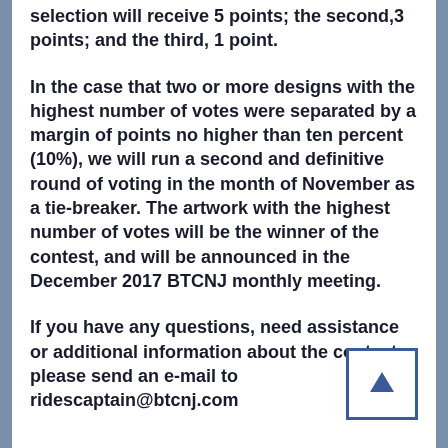selection will receive 5 points; the second,3 points; and the third, 1 point.
In the case that two or more designs with the highest number of votes were separated by a margin of points no higher than ten percent (10%), we will run a second and definitive round of voting in the month of November as a tie-breaker. The artwork with the highest number of votes will be the winner of the contest, and will be announced in the December 2017 BTCNJ monthly meeting.
If you have any questions, need assistance or additional information about the contest, please send an e-mail to ridescaptain@btcnj.com